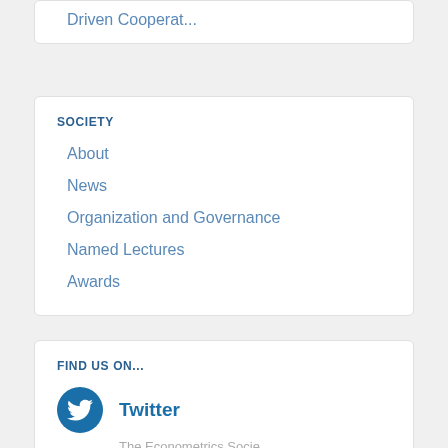Driven Cooperat...
SOCIETY
About
News
Organization and Governance
Named Lectures
Awards
FIND US ON...
Twitter
The Econometrics Socie...